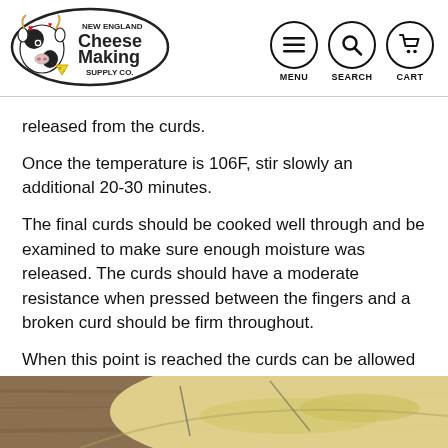New England Cheese Making Supply Co. — MENU | SEARCH | CART
released from the curds.
Once the temperature is 106F, stir slowly an additional 20-30 minutes.
The final curds should be cooked well through and be examined to make sure enough moisture was released. The curds should have a moderate resistance when pressed between the fingers and a broken curd should be firm throughout.
When this point is reached the curds can be allowed to settle under the whey.
[Figure (photo): Photo of curds in a pot with whey, taken from above, partially visible at bottom of page.]